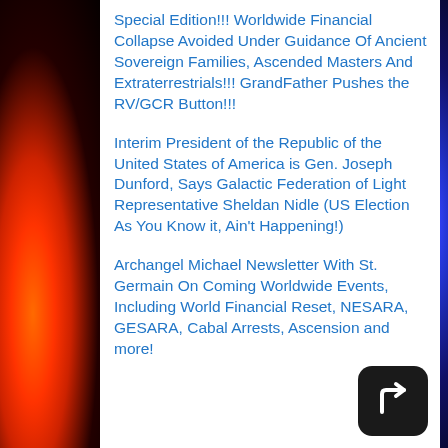Special Edition!!! Worldwide Financial Collapse Avoided Under Guidance Of Ancient Sovereign Families, Ascended Masters And Extraterrestrials!!! GrandFather Pushes the RV/GCR Button!!!
Interim President of the Republic of the United States of America is Gen. Joseph Dunford, Says Galactic Federation of Light Representative Sheldan Nidle (US Election As You Know it, Ain't Happening!)
Archangel Michael Newsletter With St. Germain On Coming Worldwide Events, Including World Financial Reset, NESARA, GESARA, Cabal Arrests, Ascension and more!